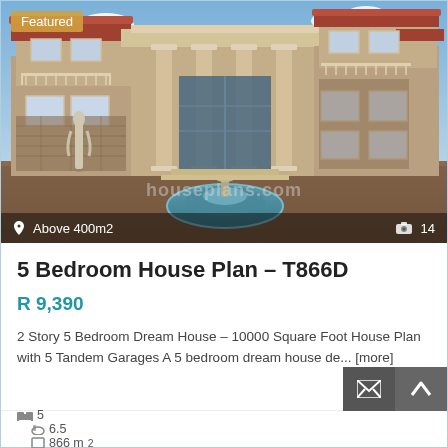[Figure (photo): Exterior rendering of a large two-story luxury house with columns, fountain in front courtyard, balconies, and terracotta roof tiles. Blue sky background. 'Featured' badge in top-left corner. Bottom overlay shows location 'Above 400m2' and camera icon with '14'.]
Featured
Above 400m2
14
5 Bedroom House Plan – T866D
R 9,390
2 Story 5 Bedroom Dream House – 10000 Square Foot House Plan with 5 Tandem Garages A 5 bedroom dream house de... [more]
5   6.5   866 m²